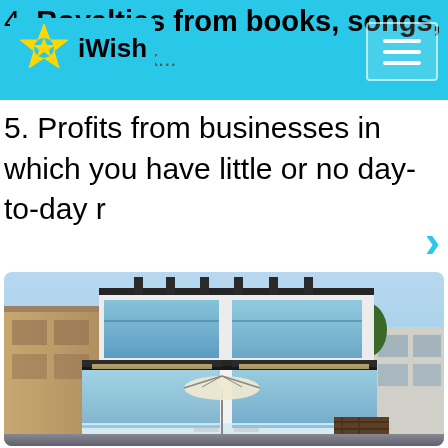4. Royalties from books, songs, publications, or other original works. iWish
5. Profits from businesses in which you have little or no day-to-day r
[Figure (photo): Modern multi-story luxury home with glass railings, dark pergola frames, and outdoor patio area with umbrella, photographed against a blue sky.]